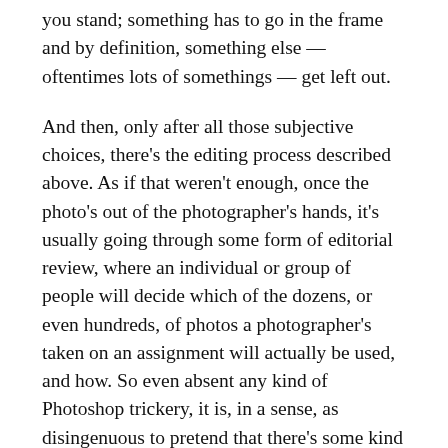you stand; something has to go in the frame and by definition, something else — oftentimes lots of somethings — get left out.
And then, only after all those subjective choices, there's the editing process described above. As if that weren't enough, once the photo's out of the photographer's hands, it's usually going through some form of editorial review, where an individual or group of people will decide which of the dozens, or even hundreds, of photos a photographer's taken on an assignment will actually be used, and how. So even absent any kind of Photoshop trickery, it is, in a sense, as disingenuous to pretend that there's some kind of noble, untouched photograph out there, in much the same way that the written word is never truly objective.
This doesn't have to be a bad thing. A lot depends on the